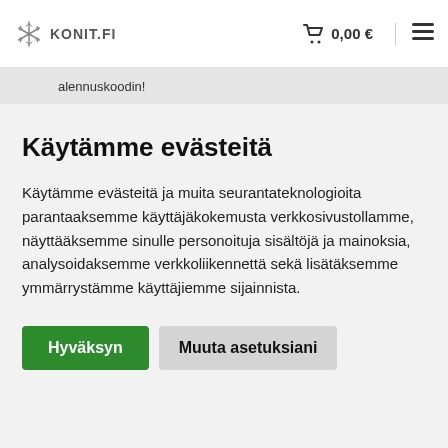KONIT.FI  0,00 €  ☰
alennuskoodin!
Käytämme evästeitä
Käytämme evästeitä ja muita seurantateknologioita parantaaksemme käyttäjäkokemusta verkkosivustollamme, näyttääksemme sinulle personoituja sisältöjä ja mainoksia, analysoidaksemme verkkoliikennettä sekä lisätäksemme ymmärrystämme käyttäjiemme sijainnista.
Hyväksyn
Muuta asetuksiani